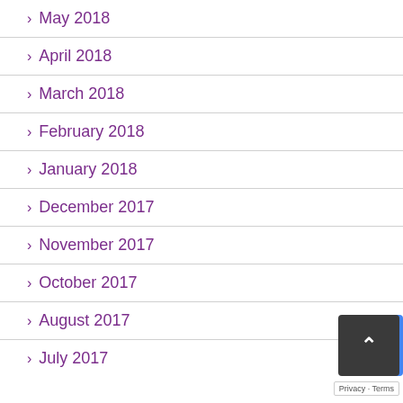May 2018
April 2018
March 2018
February 2018
January 2018
December 2017
November 2017
October 2017
August 2017
July 2017